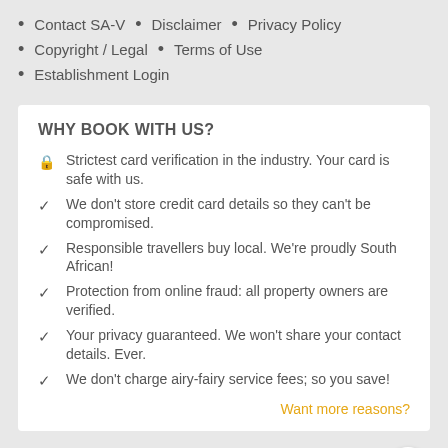Contact SA-V  •  Disclaimer  •  Privacy Policy
Copyright / Legal  •  Terms of Use
Establishment Login
WHY BOOK WITH US?
Strictest card verification in the industry. Your card is safe with us.
We don't store credit card details so they can't be compromised.
Responsible travellers buy local. We're proudly South African!
Protection from online fraud: all property owners are verified.
Your privacy guaranteed. We won't share your contact details. Ever.
We don't charge airy-fairy service fees; so you save!
Want more reasons?
LET US INSPIRE YOU